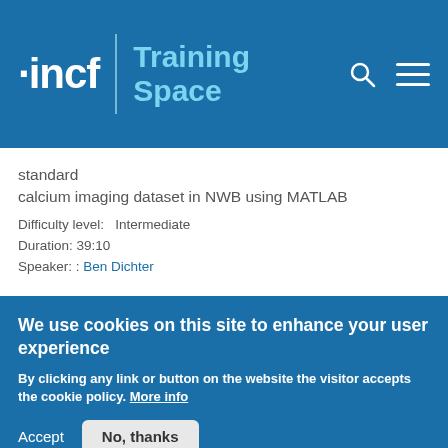[Figure (logo): INCF Training Space website header with logo and navigation icons]
standard
calcium imaging dataset in NWB using MATLAB
Difficulty level:   Intermediate
Duration: 39:10
Speaker: : Ben Dichter
Intracellular electrophysiology basics in NWB (Python and MATLAB)
We use cookies on this site to enhance your user experience
By clicking any link or button on the website the visitor accepts the cookie policy. More info
Accept   No, thanks